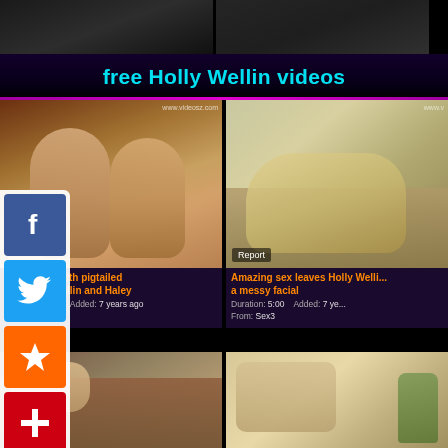[Figure (screenshot): Top banner area with two video thumbnail previews side by side on black background]
free Holly Wellin videos
[Figure (photo): Video thumbnail showing two blonde women from behind in a room with red walls and framed pictures]
threesome with pigtailed des Holly Wellin and Haley
Duration: 4:59   Added: 7 years ago
From: Porn
[Figure (photo): Video thumbnail showing a blonde woman on a floral couch with Report badge]
Amazing sex leaves Holly Wellin a messy facial
Duration: 5:00   Added: 7 years ago
From: Sex3
[Figure (photo): Video thumbnail bottom left, close up scene]
[Figure (photo): Video thumbnail bottom right, indoor scene with plants]